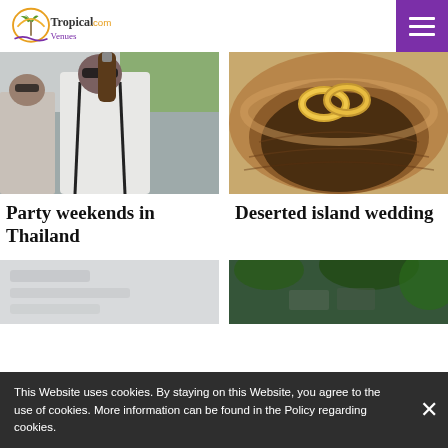TropicalVenues.com
[Figure (photo): Person in white shirt holding a beer bottle up, with suspenders, outdoors at what appears to be a party.]
[Figure (photo): Close-up of gold wedding rings resting in a dark wooden bowl.]
Party weekends in Thailand
Deserted island wedding
[Figure (photo): Light gray, partially visible card image below.]
[Figure (photo): Dark green garden/nature scene with hints of stone and foliage.]
This Website uses cookies. By staying on this Website, you agree to the use of cookies. More information can be found in the Policy regarding cookies.